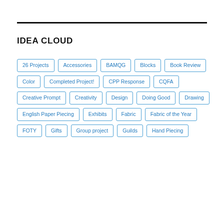IDEA CLOUD
26 Projects
Accessories
BAMQG
Blocks
Book Review
Color
Completed Project!
CPP Response
CQFA
Creative Prompt
Creativity
Design
Doing Good
Drawing
English Paper Piecing
Exhibits
Fabric
Fabric of the Year
FOTY
Gifts
Group project
Guilds
Hand Piecing